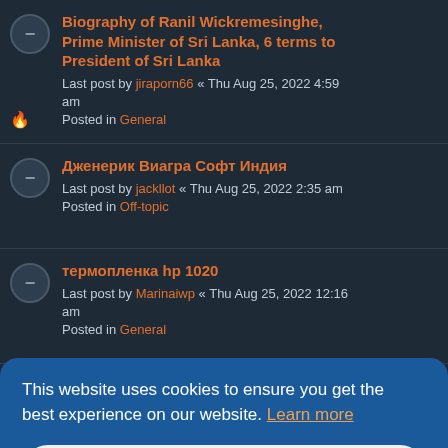Biography of Ranil Wickremesinghe, Prime Minister of Sri Lanka, 6 terms to President of Sri Lanka
Last post by jiraporn66 « Thu Aug 25, 2022 4:59 am
Posted in General
Дженерик Виагра Софт Индия
Last post by jackllot « Thu Aug 25, 2022 2:35 am
Posted in Off-topic
термопленка hp 1020
Last post by Marinaiwp « Thu Aug 25, 2022 12:16 am
Posted in General
This website uses cookies to ensure you get the best experience on our website. Learn more
Got it!
Canon g6 111 купить термила
Last post by Duglaseok « Thu Aug 25, 2022 12:09